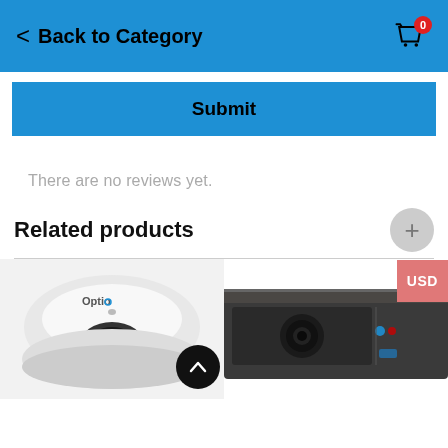< Back to Category
Submit
There are no reviews yet.
Related products
[Figure (photo): Optio brand dome security camera, white, viewed from front]
[Figure (photo): NVR/DVR device, black/dark gray, viewed from front with blue LED and lens visible]